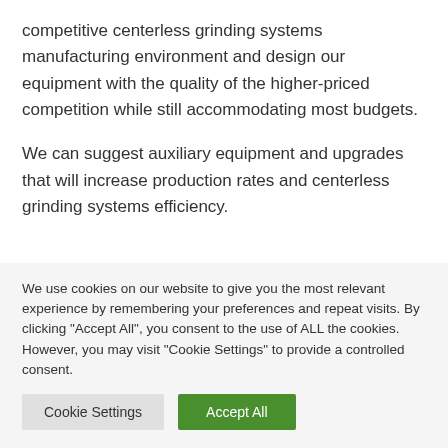competitive centerless grinding systems manufacturing environment and design our equipment with the quality of the higher-priced competition while still accommodating most budgets.
We can suggest auxiliary equipment and upgrades that will increase production rates and centerless grinding systems efficiency.
We use cookies on our website to give you the most relevant experience by remembering your preferences and repeat visits. By clicking "Accept All", you consent to the use of ALL the cookies. However, you may visit "Cookie Settings" to provide a controlled consent.